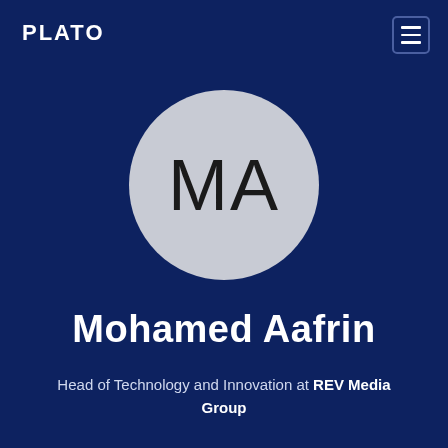PLATO
[Figure (illustration): Circular avatar placeholder with initials MA on a dark navy background]
Mohamed Aafrin
Head of Technology and Innovation at REV Media Group